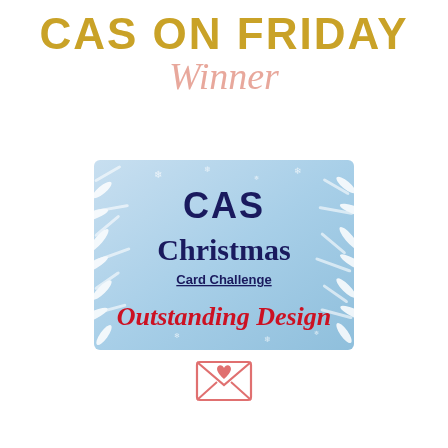CAS ON FRIDAY
Winner
[Figure (illustration): CAS Christmas Card Challenge Outstanding Design badge — blue winter/frost background with snowflake designs, text reads 'CAS Christmas Card Challenge Outstanding Design' in navy and red script]
[Figure (illustration): Small envelope icon with a heart, drawn in coral/pink outline style]